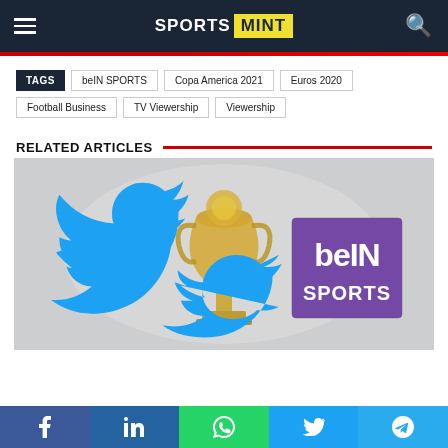SPORTS MINT
TAGS  beIN SPORTS  Copa America 2021  Euros 2020  Football Business  TV Viewership  Viewership
RELATED ARTICLES
[Figure (photo): Article thumbnail showing a World Cup trophy in the center with a Twitter bird logo on the left and beIN SPORTS logo on the right, on a light gray blurred background]
f  in  WhatsApp  Twitter  Telegram social share buttons